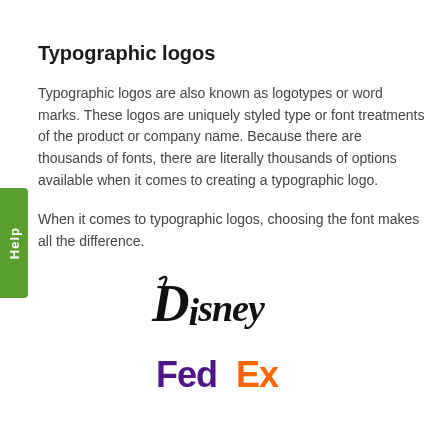Typographic logos
Typographic logos are also known as logotypes or word marks. These logos are uniquely styled type or font treatments of the product or company name. Because there are thousands of fonts, there are literally thousands of options available when it comes to creating a typographic logo.
When it comes to typographic logos, choosing the font makes all the difference.
[Figure (logo): Disney typographic logo in cursive script]
[Figure (logo): FedEx typographic logo with purple 'Fed' and orange 'Ex']